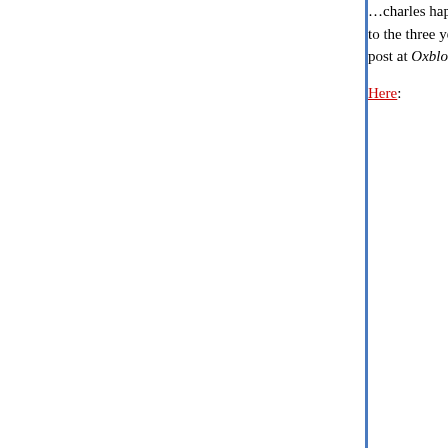…charles happened to recall a three year old post… to the three year old post in David's post yesterday post at Oxblog).
Here:
DISPATCH FROM IRAQ: Nir Rosen is one among the ranks of foreign correspondents Baghdad as a freelancer immediately after learned to speak Iraqi Arabic. Thus, he be (that I know of, at least) to report extensive occupied Fallujah in 2004.
Nir's dispatch from Fallujah was given prid 2004 issue of the New Yorker, an accompl established his reputation as leading obse book contract soon followed. Earlier this m division of Simon & Schuster, published In Bird: The Triumph of the Martyrs in Iraq. In assignment for the The NYT Magazine and has a major article on the cover of this mo the WaPo.
Before getting to the substance of Nir's pu you that I have been friends with Nir since There is no question that I want him to suc